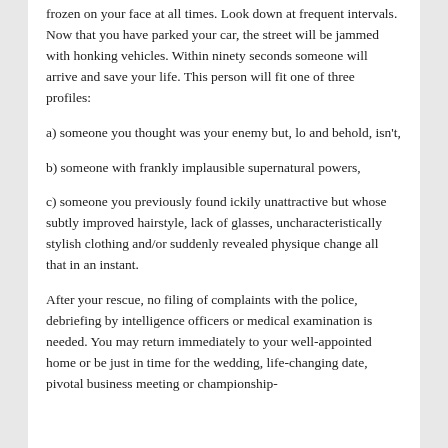frozen on your face at all times. Look down at frequent intervals. Now that you have parked your car, the street will be jammed with honking vehicles. Within ninety seconds someone will arrive and save your life. This person will fit one of three profiles:
a) someone you thought was your enemy but, lo and behold, isn't,
b) someone with frankly implausible supernatural powers,
c) someone you previously found ickily unattractive but whose subtly improved hairstyle, lack of glasses, uncharacteristically stylish clothing and/or suddenly revealed physique change all that in an instant.
After your rescue, no filing of complaints with the police, debriefing by intelligence officers or medical examination is needed. You may return immediately to your well-appointed home or be just in time for the wedding, life-changing date, pivotal business meeting or championship-